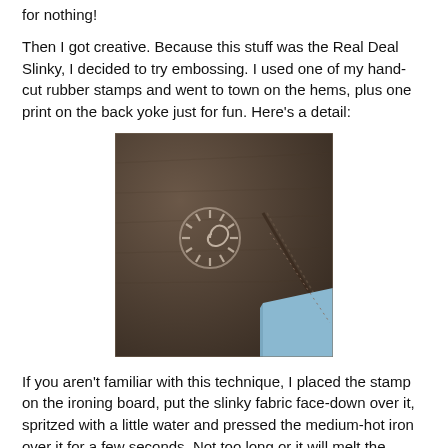for nothing!
Then I got creative. Because this stuff was the Real Deal Slinky, I decided to try embossing. I used one of my hand-cut rubber stamps and went to town on the hems, plus one print on the back yoke just for fun. Here’s a detail:
[Figure (photo): Close-up photo of dark brown/charcoal fabric with a stamped embossed design showing a spiral sun motif in lighter relief, with stitching visible and a pale blue fabric edge in the lower right corner.]
If you aren't familiar with this technique, I placed the stamp on the ironing board, put the slinky fabric face-down over it, spritzed with a little water and pressed the medium-hot iron over it for a few seconds. Not too long or it will melt the fabric. No, it doesn't wash out and is permanent. Worked a treat and I’m very pleased with the results. The embossing is